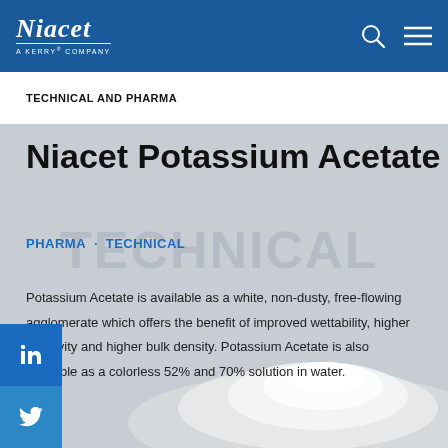Niacet · A Kerry Company
TECHNICAL AND PHARMA
Niacet Potassium Acetate
PHARMA · TECHNICAL
Potassium Acetate is available as a white, non-dusty, free-flowing agglomerate which offers the benefit of improved wettability, higher reactivity and higher bulk density. Potassium Acetate is also available as a colorless 52% and 70% solution in water.